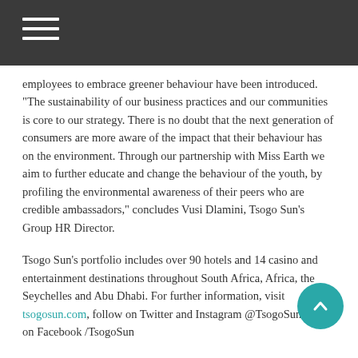[hamburger menu icon on dark header bar]
employees to embrace greener behaviour have been introduced. “The sustainability of our business practices and our communities is core to our strategy. There is no doubt that the next generation of consumers are more aware of the impact that their behaviour has on the environment. Through our partnership with Miss Earth we aim to further educate and change the behaviour of the youth, by profiling the environmental awareness of their peers who are credible ambassadors,” concludes Vusi Dlamini, Tsogo Sun’s Group HR Director.
Tsogo Sun’s portfolio includes over 90 hotels and 14 casino and entertainment destinations throughout South Africa, Africa, the Seychelles and Abu Dhabi. For further information, visit tsogosun.com, follow on Twitter and Instagram @TsogoSun or like on Facebook /TsogoSun